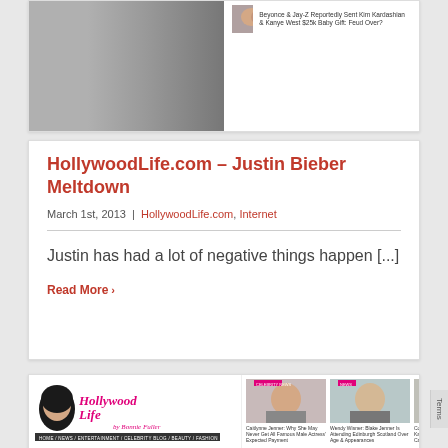[Figure (screenshot): Top portion of a HollywoodLife.com webpage showing a photo of Justin Bieber in a red beanie with a man in white shirt, plus sidebar thumbnails of celebrity stories]
HollywoodLife.com – Justin Bieber Meltdown
March 1st, 2013 | HollywoodLife.com, Internet
Justin has had a lot of negative things happen [...]
Read More >
[Figure (screenshot): Lower portion of a HollywoodLife.com webpage showing the site logo, navigation bar, celebrity thumbnails, and Most Read section]